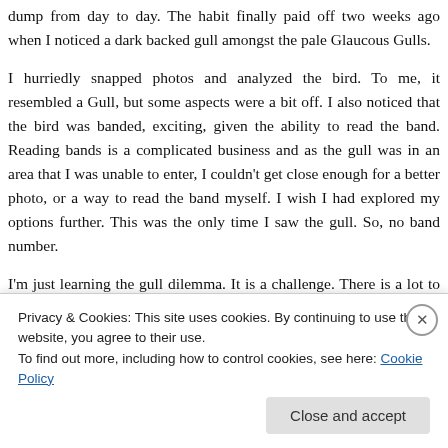dump from day to day. The habit finally paid off two weeks ago when I noticed a dark backed gull amongst the pale Glaucous Gulls.
I hurriedly snapped photos and analyzed the bird. To me, it resembled a Gull, but some aspects were a bit off. I also noticed that the bird was banded, exciting, given the ability to read the band. Reading bands is a complicated business and as the gull was in an area that I was unable to enter, I couldn't get close enough for a better photo, or a way to read the band myself. I wish I had explored my options further. This was the only time I saw the gull. So, no band number.
I'm just learning the gull dilemma. It is a challenge. There is a lot to learn, and the differences between many species are slight. With this vagrant dark backed gull, I had to get some help. I emailed a friend in high places, and he soon got back to me with a consensus, along with the opinions of other authorities. The result was a LESSER BLACK–BACKED GULL. A life bird for me, and a bird I hadn't even considered, as the back just didn't seem dark enough. Still, after taking into consideration...
Privacy & Cookies: This site uses cookies. By continuing to use this website, you agree to their use.
To find out more, including how to control cookies, see here: Cookie Policy